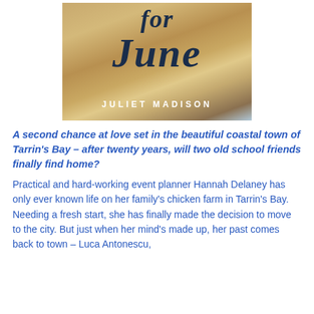[Figure (illustration): Book cover of 'for June' by Juliet Madison featuring sandy beach and coastal scene with title text and author name]
A second chance at love set in the beautiful coastal town of Tarrin's Bay – after twenty years, will two old school friends finally find home?
Practical and hard-working event planner Hannah Delaney has only ever known life on her family's chicken farm in Tarrin's Bay. Needing a fresh start, she has finally made the decision to move to the city. But just when her mind's made up, her past comes back to town – Luca Antonescu,